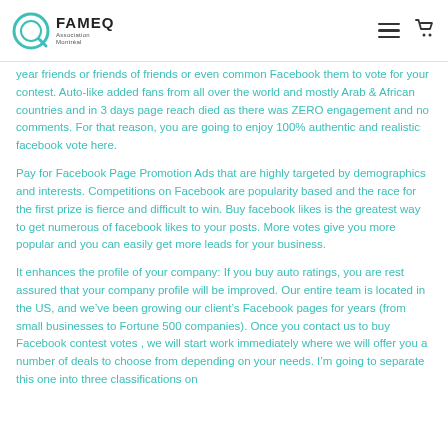FAMEQ Association Montreal [logo] [hamburger menu] [cart icon]
year friends or friends of friends or even common Facebook them to vote for your contest. Auto-like added fans from all over the world and mostly Arab & African countries and in 3 days page reach died as there was ZERO engagement and no comments. For that reason, you are going to enjoy 100% authentic and realistic facebook vote here.
Pay for Facebook Page Promotion Ads that are highly targeted by demographics and interests. Competitions on Facebook are popularity based and the race for the first prize is fierce and difficult to win. Buy facebook likes is the greatest way to get numerous of facebook likes to your posts. More votes give you more popular and you can easily get more leads for your business.
It enhances the profile of your company: If you buy auto ratings, you are rest assured that your company profile will be improved. Our entire team is located in the US, and we've been growing our client's Facebook pages for years (from small businesses to Fortune 500 companies). Once you contact us to buy Facebook contest votes , we will start work immediately where we will offer you a number of deals to choose from depending on your needs. I'm going to separate this one into three classifications on